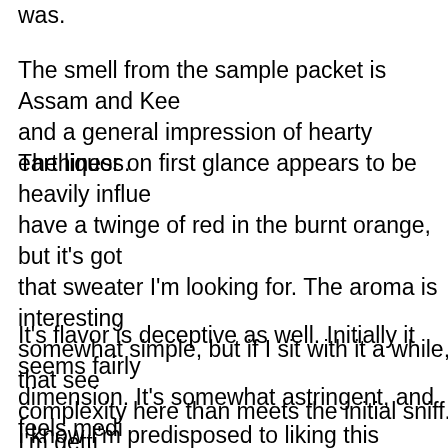was.
The smell from the sample packet is Assam and Kee and a general impression of hearty earthiness.
The liquor on first glance appears to be heavily influe have a twinge of red in the burnt orange, but it's got that sweater I'm looking for. The aroma is interesting somewhat simple, but if I sit with it a while, that see complexity here than meets the initial sniff. I'm getti some malty sweetness, and something sort of vague oolong. It's generally smooth but there are little shar the crests of waves.
It's flavor is deceptive as well. Initially it seems fairly dimension. It's somewhat astringent, and feels medi more, though, I'm getting some stone fruit notes, so and something that is almost biscuity.
I know I'm predisposed to liking this because of the n